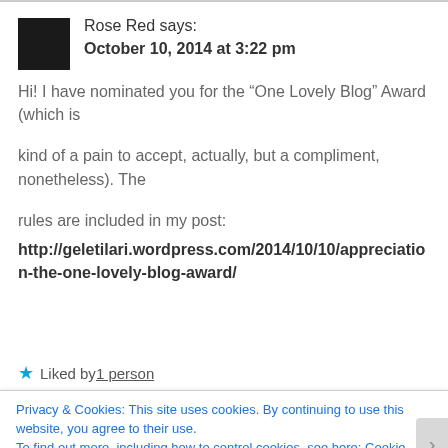Rose Red says:
October 10, 2014 at 3:22 pm
Hi! I have nominated you for the “One Lovely Blog” Award (which is

kind of a pain to accept, actually, but a compliment, nonetheless). The

rules are included in my post:
http://geletilari.wordpress.com/2014/10/10/appreciation-the-one-lovely-blog-award/
★ Liked by 1 person
Privacy & Cookies: This site uses cookies. By continuing to use this website, you agree to their use.
To find out more, including how to control cookies, see here: Cookie Policy
Close and accept